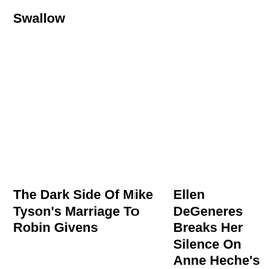Swallow
The Dark Side Of Mike Tyson's Marriage To Robin Givens
Ellen DeGeneres Breaks Her Silence On Anne Heche's Death